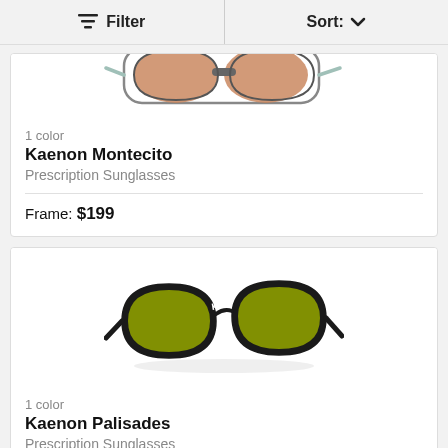Filter   Sort: ∨
[Figure (photo): Bottom portion of Kaenon Montecito prescription sunglasses with brown/copper lenses and light blue/gray frame, partially cropped at top]
1 color
Kaenon Montecito
Prescription Sunglasses
Frame: $199
[Figure (photo): Kaenon Palisades prescription sunglasses with black frame and yellow-green lenses, shown at an angle]
1 color
Kaenon Palisades
Prescription Sunglasses